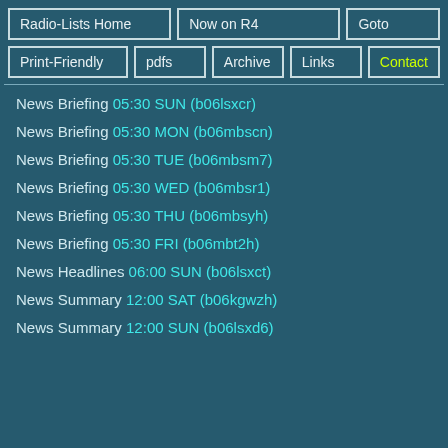Radio-Lists Home
Now on R4
Goto
Print-Friendly
pdfs
Archive
Links
Contact
News Briefing 05:30 SUN (b06lsxcr)
News Briefing 05:30 MON (b06mbscn)
News Briefing 05:30 TUE (b06mbsm7)
News Briefing 05:30 WED (b06mbsr1)
News Briefing 05:30 THU (b06mbsyh)
News Briefing 05:30 FRI (b06mbt2h)
News Headlines 06:00 SUN (b06lsxct)
News Summary 12:00 SAT (b06kgwzh)
News Summary 12:00 SUN (b06lsxd6)